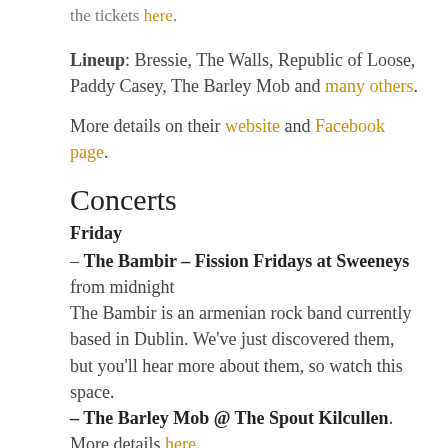the tickets here.
Lineup: Bressie, The Walls, Republic of Loose, Paddy Casey, The Barley Mob and many others.
More details on their website and Facebook page.
Concerts
Friday
– The Bambir – Fission Fridays at Sweeneys from midnight
The Bambir is an armenian rock band currently based in Dublin. We've just discovered them, but you'll hear more about them, so watch this space.
– The Barley Mob @ The Spout Kilcullen. More details here.
– Feeder @ The Academy Dublin. More details here.
Saturday
– The Bambir – Dublin Zombie Walk afterparty at The Gypsy Rose. Watch their Facebook